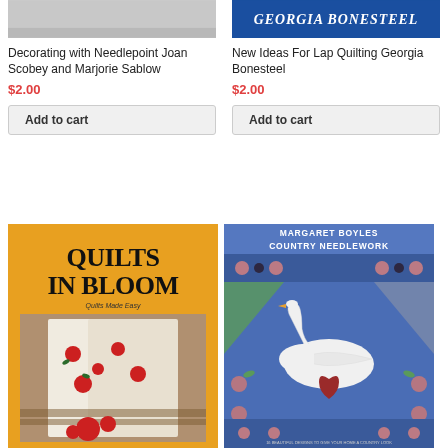[Figure (photo): Top portion of book cover for 'Decorating with Needlepoint Joan Scobey and Marjorie Sablow' - partial gray/light image]
Decorating with Needlepoint Joan Scobey and Marjorie Sablow
$2.00
Add to cart
[Figure (photo): Top portion of 'New Ideas For Lap Quilting Georgia Bonesteel' book cover with blue banner and white italic text 'GEORGIA BONESTEEL']
New Ideas For Lap Quilting Georgia Bonesteel
$2.00
Add to cart
[Figure (photo): Book cover: 'Quilts in Bloom - Quilts Made Easy' with orange/yellow background showing quilts with floral patterns draped over a fence]
[Figure (photo): Book cover: 'Margaret Boyles Country Needlework' showing needlework design with swan, heart, and floral motifs on blue background]